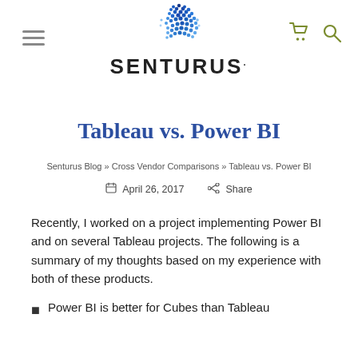[Figure (logo): Senturus globe logo with blue dot pattern and SENTURUS wordmark]
Tableau vs. Power BI
Senturus Blog » Cross Vendor Comparisons » Tableau vs. Power BI
April 26, 2017   Share
Recently, I worked on a project implementing Power BI and on several Tableau projects. The following is a summary of my thoughts based on my experience with both of these products.
Power BI is better for Cubes than Tableau